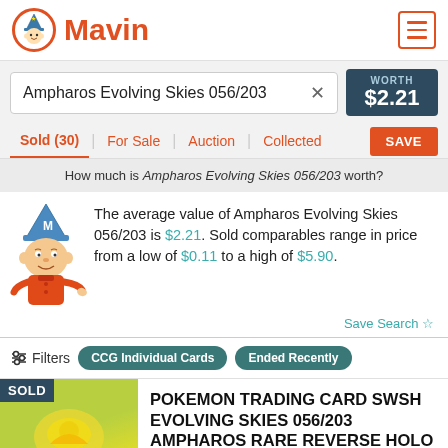[Figure (logo): Mavin logo with mascot in orange circle and bold orange Mavin text]
Ampharos Evolving Skies 056/203
WORTH $2.21
Sold (30) | For Sale | Auction | Collected
SAVE
How much is Ampharos Evolving Skies 056/203 worth?
The average value of Ampharos Evolving Skies 056/203 is $2.21. Sold comparables range in price from a low of $0.11 to a high of $5.90.
Save Search ☆
Filters CCG Individual Cards Ended Recently
SOLD
POKEMON TRADING CARD SWSH EVOLVING SKIES 056/203 AMPHAROS RARE REVERSE HOLO